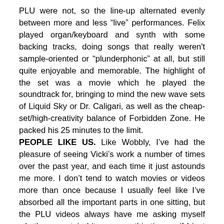PLU were not, so the line-up alternated evenly between more and less “live” performances. Felix played organ/keyboard and synth with some backing tracks, doing songs that really weren't sample-oriented or “plunderphonic” at all, but still quite enjoyable and memorable. The highlight of the set was a movie which he played the soundtrack for, bringing to mind the new wave sets of Liquid Sky or Dr. Caligari, as well as the cheap-set/high-creativity balance of Forbidden Zone. He packed his 25 minutes to the limit.
PEOPLE LIKE US. Like Wobbly, I’ve had the pleasure of seeing Vicki’s work a number of times over the past year, and each time it just astounds me more. I don’t tend to watch movies or videos more than once because I usually feel like I’ve absorbed all the important parts in one sitting, but the PLU videos always have me asking myself whether a certain bit was new this time or if I just didn’t catch it the first time I saw it. It’s phenomenal stuff, basically surrealist/plagiarist video seamlessly connected and laced together with a soundtrack improvised over the video’s “natural” audio track. Something of a dadaist, apolitical Emergency Broadcast Network or something. It’s a tired